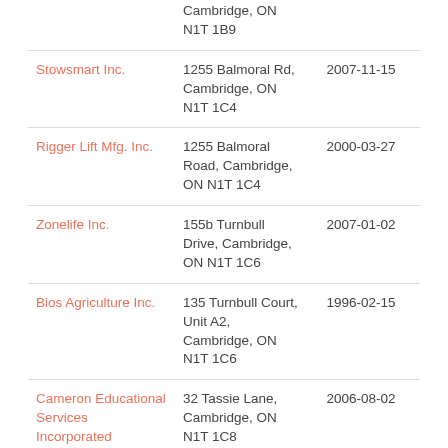| Company Name | Address | Date |
| --- | --- | --- |
|  | Cambridge, ON N1T 1B9 |  |
| Stowsmart Inc. | 1255 Balmoral Rd, Cambridge, ON N1T 1C4 | 2007-11-15 |
| Rigger Lift Mfg. Inc. | 1255 Balmoral Road, Cambridge, ON N1T 1C4 | 2000-03-27 |
| Zonelife Inc. | 155b Turnbull Drive, Cambridge, ON N1T 1C6 | 2007-01-02 |
| Bios Agriculture Inc. | 135 Turnbull Court, Unit A2, Cambridge, ON N1T 1C6 | 1996-02-15 |
| Cameron Educational Services Incorporated | 32 Tassie Lane, Cambridge, ON N1T 1C8 | 2006-08-02 |
| Krcnelson Consulting Inc. | 83 Bayne Crescent, | 2017-03-17 |